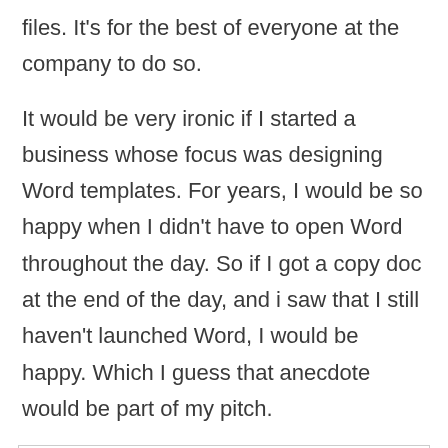files. It's for the best of everyone at the company to do so.
It would be very ironic if I started a business whose focus was designing Word templates. For years, I would be so happy when I didn't have to open Word throughout the day. So if I got a copy doc at the end of the day, and i saw that I still haven't launched Word, I would be happy. Which I guess that anecdote would be part of my pitch.
Enjoyed this blog post?